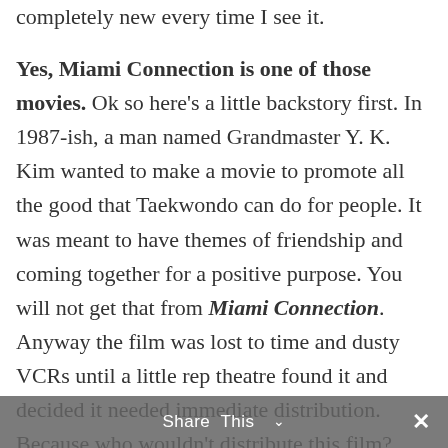completely new every time I see it.
Yes, Miami Connection is one of those movies. Ok so here's a little backstory first. In 1987-ish, a man named Grandmaster Y. K. Kim wanted to make a movie to promote all the good that Taekwondo can do for people. It was meant to have themes of friendship and coming together for a positive purpose. You will not get that from Miami Connection. Anyway the film was lost to time and dusty VCRs until a little rep theatre found it and decided it needed immediate distribution. Because who wouldn't distribute this film?
I saw this in 2012 at Fantaisa, around the same time The Alamo Drafthouse released the Blu-ray set, with a theatre full of midnight movie goers who were extremely ready for the magic of a good-bad movie. I
Share  This  ∨  ×